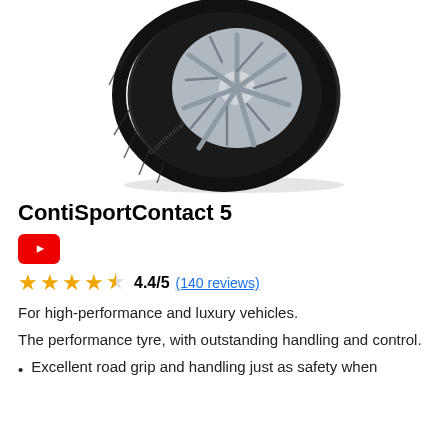[Figure (photo): Continental ContiSportContact 5 tyre with alloy wheel, viewed at an angle showing tread pattern and sidewall branding.]
ContiSportContact 5
[Figure (logo): YouTube play button icon (red rounded rectangle with white triangle).]
4.4/5 (140 reviews)
For high-performance and luxury vehicles.
The performance tyre, with outstanding handling and control.
Excellent road grip and handling just as safety when